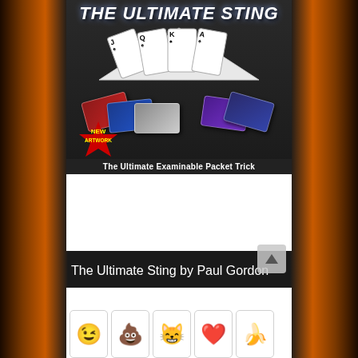[Figure (illustration): Product image for 'The Ultimate Sting' magic trick by Paul Gordon. Shows playing cards (J, Q, K, A of spades) fanned out and credit cards spread below them. 'NEW ARTWORK' badge in bottom-left. Bottom bar reads 'The Ultimate Examinable Packet Trick'. Dark background.]
The Ultimate Sting by Paul Gordon
[Figure (illustration): Second product panel showing a row of emoji-style cards at the bottom: winking face emoji, poop emoji, cat with crown emoji, heart emoji, banana emoji. White background with large empty white space above the emoji cards.]